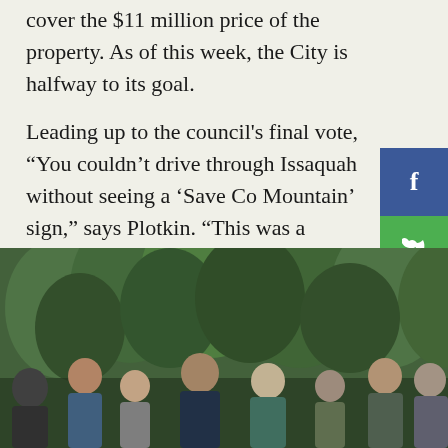cover the $11 million price of the property. As of this week, the City is halfway to its goal.
Leading up to the council's final vote, "You couldn't drive through Issaquah without seeing a 'Save Co Mountain' sign," says Plotkin. "This was a really go example of democracy, where citizens organized urged elected officials to do something importan the community. It wouldn't have happened witho that energy."
[Figure (photo): Group of people standing outdoors in front of green trees/forest. Several individuals are visible including men and women of various ages, some wearing jackets.]